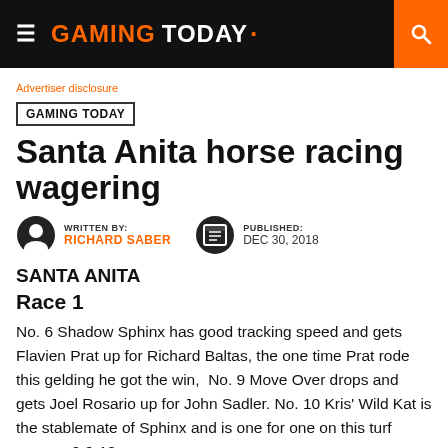GAMING TODAY
Advertiser disclosure
GAMING TODAY
Santa Anita horse racing wagering
WRITTEN BY: RICHARD SABER   PUBLISHED: DEC 30, 2018
SANTA ANITA
Race 1
No. 6 Shadow Sphinx has good tracking speed and gets Flavien Prat up for Richard Baltas, the one time Prat rode this gelding he got the win,  No. 9 Move Over drops and gets Joel Rosario up for John Sadler. No. 10 Kris' Wild Kat is the stablemate of Sphinx and is one for one on this turf course. 6-9-10